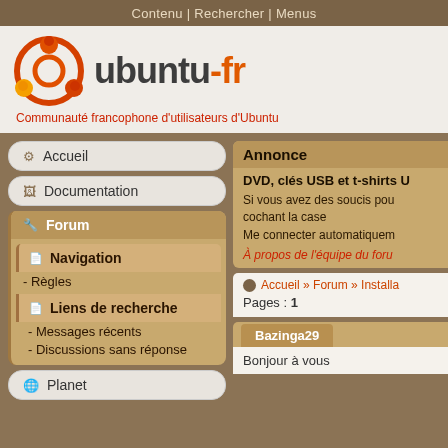Contenu | Rechercher | Menus
[Figure (logo): Ubuntu-fr logo with Ubuntu circle symbol and text 'ubuntu-fr' with tagline 'Communauté francophone d'utilisateurs d'Ubuntu']
Accueil
Documentation
Forum
Navigation
- Règles
Liens de recherche
- Messages récents
- Discussions sans réponse
Planet
Annonce
DVD, clés USB et t-shirts U
Si vous avez des soucis pou cochant la case
Me connecter automatiquem
À propos de l'équipe du foru
Accueil » Forum » Installa
Pages : 1
Bazinga29
Bonjour à vous